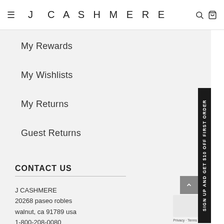J CASHMERE
My Rewards
My Wishlists
My Returns
Guest Returns
CONTACT US
J CASHMERE
20268 paseo robles
walnut, ca 91789 usa
1-800-208-0080
Email us
County: Los Angeles